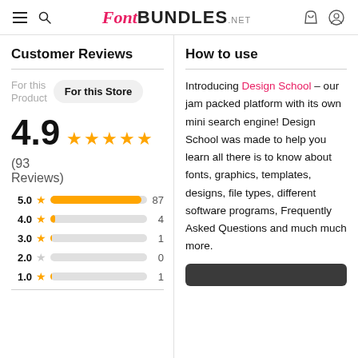Font BUNDLES .NET
Customer Reviews
For this Product   For this Store
4.9 ★★★★★ (93 Reviews)
5.0 ★ [bar] 87
4.0 ★ [bar] 4
3.0 ★ [bar] 1
2.0 ☆ [bar] 0
1.0 ★ [bar] 1
How to use
Introducing Design School – our jam packed platform with its own mini search engine! Design School was made to help you learn all there is to know about fonts, graphics, templates, designs, file types, different software programs, Frequently Asked Questions and much much more.